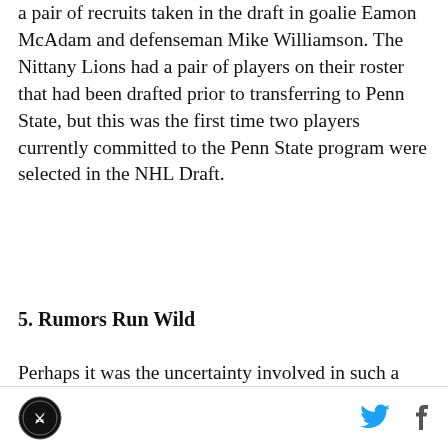a pair of recruits taken in the draft in goalie Eamon McAdam and defenseman Mike Williamson. The Nittany Lions had a pair of players on their roster that had been drafted prior to transferring to Penn State, but this was the first time two players currently committed to the Penn State program were selected in the NHL Draft.
5. Rumors Run Wild
Perhaps it was the uncertainty involved in such a major change, perhaps it was a poor job communicating by the league itself, but the Big Ten conference has seemed to draw more than their fair share of crazy rumors about the league.
Logo | Twitter | Facebook